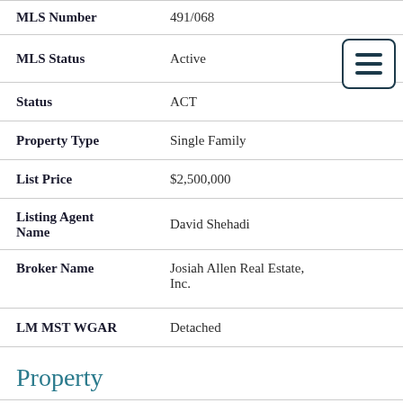| Field | Value |
| --- | --- |
| MLS Number | 491/068 |
| MLS Status | Active |
| Status | ACT |
| Property Type | Single Family |
| List Price | $2,500,000 |
| Listing Agent Name | David Shehadi |
| Broker Name | Josiah Allen Real Estate, Inc. |
| LM MST WGAR | Detached |
Property
| Field | Value |
| --- | --- |
| Acreage | 187 |
| Lot Description | Mountain View, Stream, |